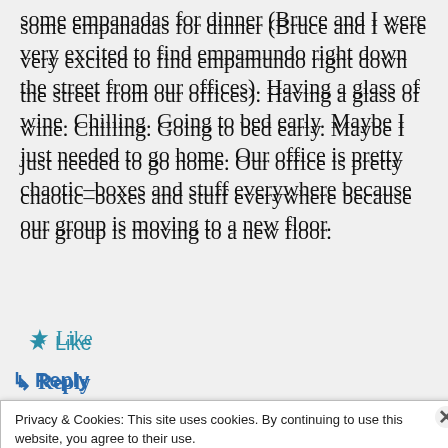some empanadas for dinner (Bruce and I were very excited to find empamundo right down the street from our offices). Having a glass of wine. Chilling. Going to bed early. Maybe I just needed to go home. Our office is pretty chaotic–boxes and stuff everywhere because our group is moving to a new floor.
★ Like
↳ Reply
Privacy & Cookies: This site uses cookies. By continuing to use this website, you agree to their use. To find out more, including how to control cookies, see here: Cookie Policy
Close and accept